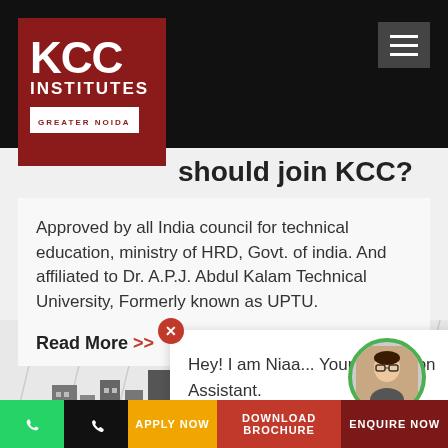[Figure (logo): KCC Institutes Greater Noida logo – white text on dark red background]
should join KCC?
Approved by all India council for technical education, ministry of HRD, Govt. of india. And affiliated to Dr. A.P.J. Abdul Kalam Technical University, Formerly known as UPTU.
Read More >>
[Figure (illustration): Sketch/line illustration of KCC institute campus buildings in background with diagonal lines]
Hey! I am Niaa... Your Admission Assistant.
APPLY NOW | DOWNLOAD BROCHURE | ENQUIRE NOW